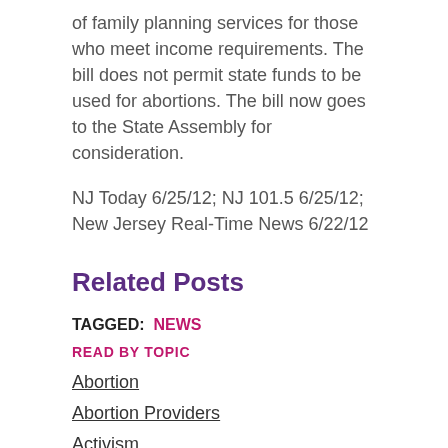of family planning services for those who meet income requirements. The bill does not permit state funds to be used for abortions. The bill now goes to the State Assembly for consideration.
NJ Today 6/25/12; NJ 101.5 6/25/12; New Jersey Real-Time News 6/22/12
Related Posts
TAGGED:  NEWS
READ BY TOPIC
Abortion
Abortion Providers
Activism